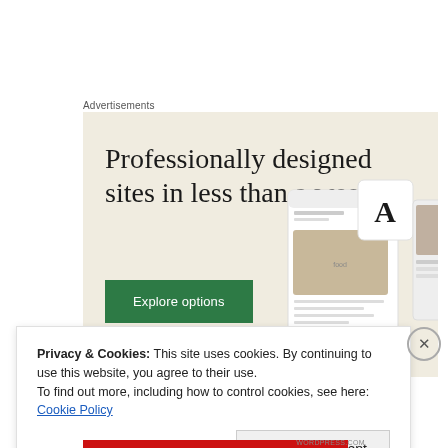Advertisements
[Figure (illustration): Advertisement banner with beige background showing text 'Professionally designed sites in less than a week', a green 'Explore options' button, and website/app screen mockups on the right side.]
Privacy & Cookies: This site uses cookies. By continuing to use this website, you agree to their use.
To find out more, including how to control cookies, see here: Cookie Policy
Close and accept